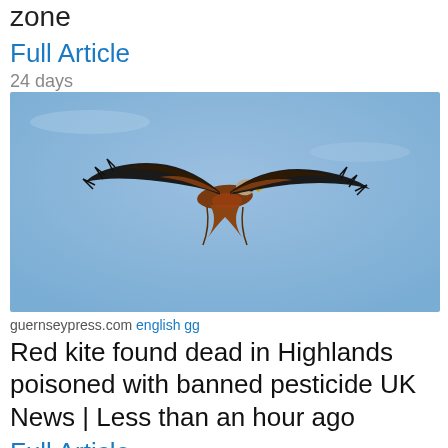zone
Full Article
24 days
[Figure (photo): A red kite bird in flight against a blue sky, wings spread wide, showing brown and black plumage with a forked tail.]
guernseypress.com english gg
Red kite found dead in Highlands poisoned with banned pesticide UK News | Less than an hour ago
Full Article